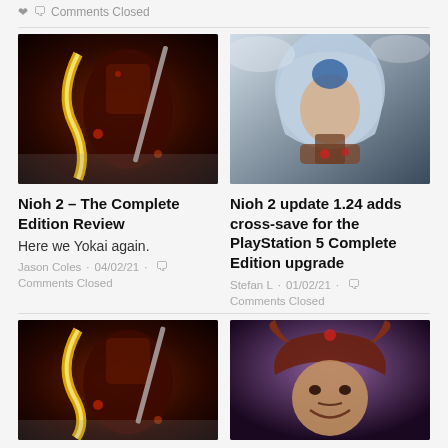Comments Closed
[Figure (photo): Nioh 2 game artwork showing armored warrior with glowing yellow energy sword]
Nioh 2 – The Complete Edition Review
Here we Yokai again.
Jason Coles · 04/02/21 · Comments Closed
[Figure (photo): Nioh 2 update artwork showing hooded assassin character with blue hair]
Nioh 2 update 1.24 adds cross-save for the PlayStation 5 Complete Edition upgrade
Stefan L · 01/02/21 · Comments Closed
[Figure (photo): Nioh 2 game artwork showing armored warrior with glowing yellow energy sword (second instance)]
[Figure (photo): Samurai character with ornate helmet smiling, purple background]